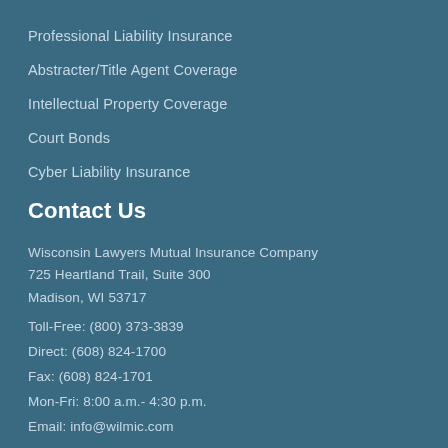Professional Liability Insurance
Abstracter/Title Agent Coverage
Intellectual Property Coverage
Court Bonds
Cyber Liability Insurance
Contact Us
Wisconsin Lawyers Mutual Insurance Company
725 Heartland Trail, Suite 300
Madison, WI 53717
Toll-Free: (800) 373-3839
Direct: (608) 824-1700
Fax: (608) 824-1701
Mon-Fri: 8:00 a.m.- 4:30 p.m.
Email: info@wilmic.com